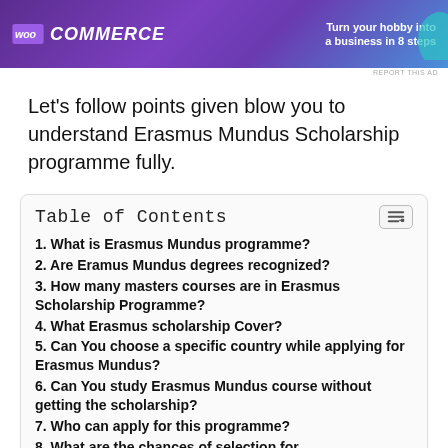[Figure (screenshot): WooCommerce advertisement banner with purple/blue gradient background, WooCommerce logo and text 'Turn your hobby into a business in 8 steps']
REPORT THIS AD
Let's follow points given blow you to understand Erasmus Mundus Scholarship programme fully.
| 1. What is Erasmus Mundus programme? |
| 2. Are Eramus Mundus degrees recognized? |
| 3. How many masters courses are in Erasmus Scholarship Programme? |
| 4. What Erasmus scholarship Cover? |
| 5. Can You choose a specific country while applying for Erasmus Mundus? |
| 6. Can You study Erasmus Mundus course without getting the scholarship? |
| 7. Who can apply for this programme? |
| 8. What are the chances of selection for |